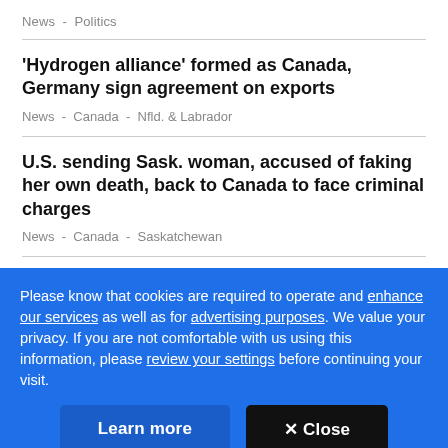News  -  Politics
'Hydrogen alliance' formed as Canada, Germany sign agreement on exports
News  -  Canada  -  Nfld. & Labrador
U.S. sending Sask. woman, accused of faking her own death, back to Canada to face criminal charges
News  -  Canada  -  Saskatchewan
Big byelection win buoys U.S. Democrats' hopes entering midterms
Please know that cookies are required to operate and enhance our services as well as for advertising purposes. We value your privacy. If you are not comfortable with us using this information, please review your settings before continuing your visit.
Learn more
✕ Close